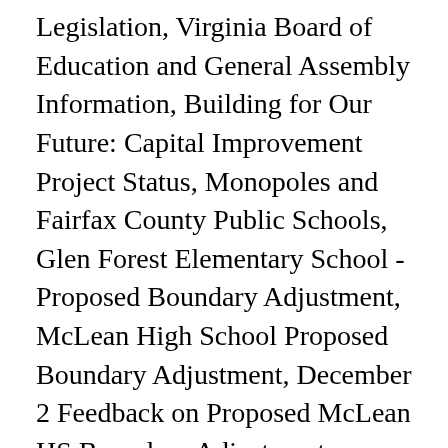Legislation, Virginia Board of Education and General Assembly Information, Building for Our Future: Capital Improvement Project Status, Monopoles and Fairfax County Public Schools, Glen Forest Elementary School - Proposed Boundary Adjustment, McLean High School Proposed Boundary Adjustment, December 2 Feedback on Proposed McLean HS Boundary Adjustment, December 4 Feedback on Proposed Boundary Adjustment for McLean HS, Equity Profile - Goal 3: Premier Workforce, Equity Profile - Goal 4: Resource Stewardship, Common Reasons for Poor Attendance and Related Support, Encouraging School Attendance in Elementary School, Encouraging School Attendance in Secondary School,